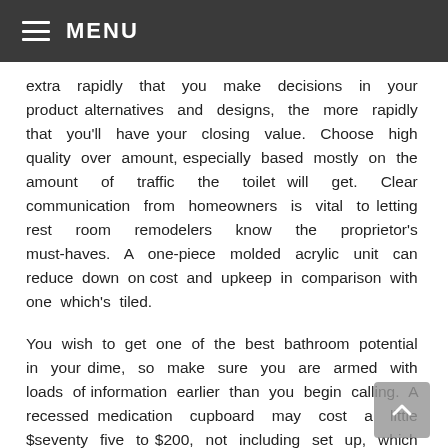MENU
extra rapidly that you make decisions in your product alternatives and designs, the more rapidly that you'll have your closing value. Choose high quality over amount, especially based mostly on the amount of traffic the toilet will get. Clear communication from homeowners is vital to letting rest room remodelers know the proprietor's must-haves. A one-piece molded acrylic unit can reduce down on cost and upkeep in comparison with one which's tiled.
You wish to get one of the best bathroom potential in your dime, so make sure you are armed with loads of information earlier than you begin calling. A recessed medication cupboard may cost a little $seventy five to $200, not including set up, which takes two or three hours. Moving lights or plumbing or putting in a window will cost greater than sticking with the bathroom's original structure.